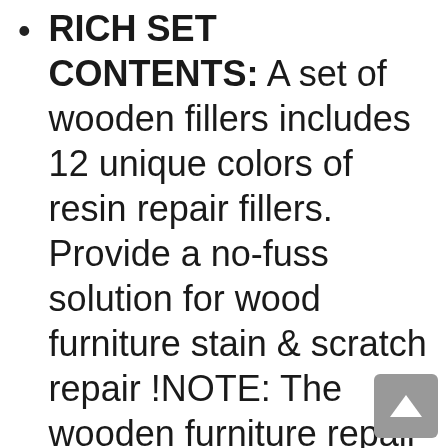RICH SET CONTENTS: A set of wooden fillers includes 12 unique colors of resin repair fillers. Provide a no-fuss solution for wood furniture stain & scratch repair !NOTE: The wooden furniture repair kit is a touch-up set. It could make the scratch or scuffs by blending the color to match the furniture to make it less noticeable. They could also be used for repairing small dents or cracks, please dry it with a hair dryer and air dry it for 2-3 days(away from water).